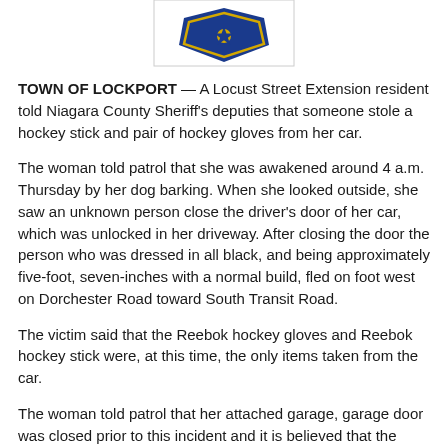[Figure (logo): Niagara County Sheriff badge/shield logo — blue and gold shield shape, partially visible at top]
TOWN OF LOCKPORT — A Locust Street Extension resident told Niagara County Sheriff's deputies that someone stole a hockey stick and pair of hockey gloves from her car.
The woman told patrol that she was awakened around 4 a.m. Thursday by her dog barking. When she looked outside, she saw an unknown person close the driver's door of her car, which was unlocked in her driveway. After closing the door the person who was dressed in all black, and being approximately five-foot, seven-inches with a normal build, fled on foot west on Dorchester Road toward South Transit Road.
The victim said that the Reebok hockey gloves and Reebok hockey stick were, at this time, the only items taken from the car.
The woman told patrol that her attached garage, garage door was closed prior to this incident and it is believed that the suspect opened the door via the in-car garage door opener which is attached to the car to enter and take these items.